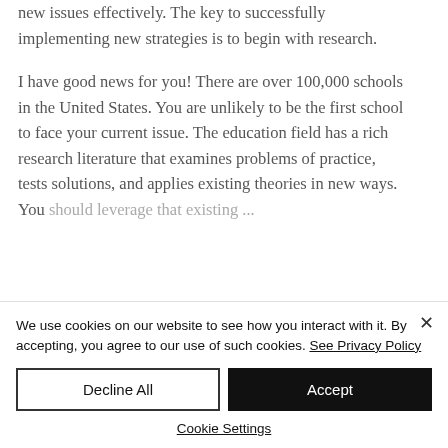new issues effectively. The key to successfully implementing new strategies is to begin with research.
I have good news for you! There are over 100,000 schools in the United States. You are unlikely to be the first school to face your current issue. The education field has a rich research literature that examines problems of practice, tests solutions, and applies existing theories in new ways. You should leverage that existing...
We use cookies on our website to see how you interact with it. By accepting, you agree to our use of such cookies. See Privacy Policy
Decline All
Accept
Cookie Settings